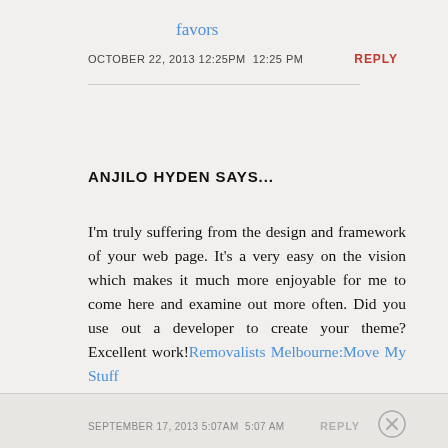favors
OCTOBER 22, 2013 12:25PM 12:25 PM
REPLY
ANJILO HYDEN SAYS...
I'm truly suffering from the design and framework of your web page. It's a very easy on the vision which makes it much more enjoyable for me to come here and examine out more often. Did you use out a developer to create your theme? Excellent work!Removalists Melbourne:Move My Stuff
SEPTEMBER 17, 2013 5:07AM 5:07 AM
REPLY